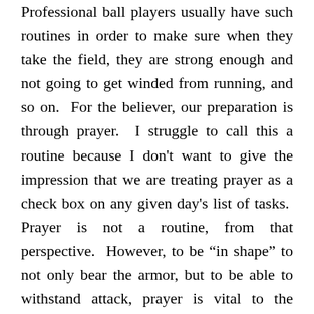Professional ball players usually have such routines in order to make sure when they take the field, they are strong enough and not going to get winded from running, and so on.  For the believer, our preparation is through prayer.  I struggle to call this a routine because I don't want to give the impression that we are treating prayer as a check box on any given day's list of tasks.  Prayer is not a routine, from that perspective.  However, to be “in shape” to not only bear the armor, but to be able to withstand attack, prayer is vital to the believer as it keeps the believer calm and at peace, experiencing the presence of God.  Our perseverance on the battlefield can be greatly enhanced by our perseverance of prayer.  And, we should also note that this isn't just prayer for